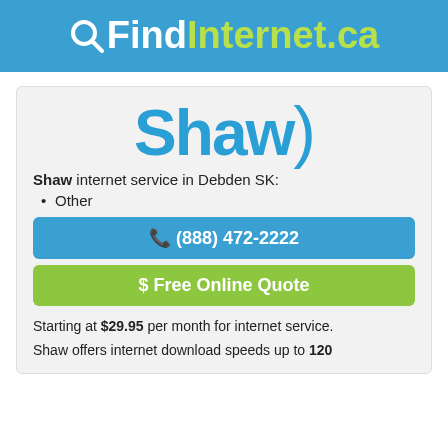QFindInternet.ca
[Figure (logo): Shaw logo with large blue 'Shaw)' text]
Shaw internet service in Debden SK:
Other
(888) 472-2222
$ Free Online Quote
Starting at $29.95 per month for internet service.
Shaw offers internet download speeds up to 120